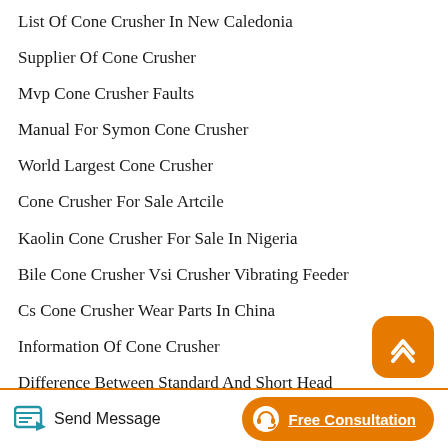List Of Cone Crusher In New Caledonia
Supplier Of Cone Crusher
Mvp Cone Crusher Faults
Manual For Symon Cone Crusher
World Largest Cone Crusher
Cone Crusher For Sale Artcile
Kaolin Cone Crusher For Sale In Nigeria
Bile Cone Crusher Vsi Crusher Vibrating Feeder
Cs Cone Crusher Wear Parts In China
Information Of Cone Crusher
Difference Between Standard And Short Head
Send Message | Free Consultation